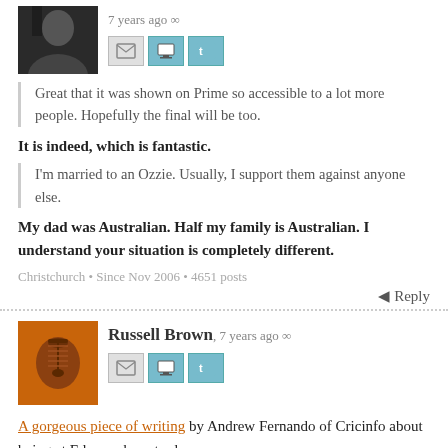[Figure (photo): Black and white avatar photo of a person, cropped]
7 years ago ∞
[Figure (infographic): Email, monitor, and Twitter icon buttons]
Great that it was shown on Prime so accessible to a lot more people. Hopefully the final will be too.
It is indeed, which is fantastic.
I'm married to an Ozzie. Usually, I support them against anyone else.
My dad was Australian. Half my family is Australian. I understand your situation is completely different.
Christchurch • Since Nov 2006 • 4651 posts
Reply
[Figure (photo): Orange avatar with microphone icon for Russell Brown]
Russell Brown, 7 years ago ∞
[Figure (infographic): Email, monitor, and Twitter icon buttons]
A gorgeous piece of writing by Andrew Fernando of Cricinfo about being at Eden park yesterday.
Auckland • Since Nov 2006 • 22850 posts
Reply